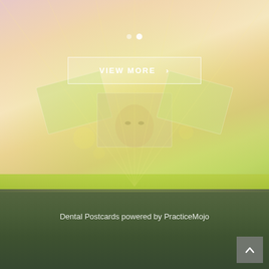[Figure (screenshot): Website screenshot showing a dental postcards promotional page. Background has a colorful sky-to-grass gradient with a semi-transparent postcard image overlay featuring a woman smiling. There are navigation dots, a 'VIEW MORE' button with right chevron, and footer text 'Dental Postcards powered by PracticeMojo'. A back-to-top button (chevron up) is in the bottom right corner.]
VIEW MORE  ›
Dental Postcards powered by PracticeMojo